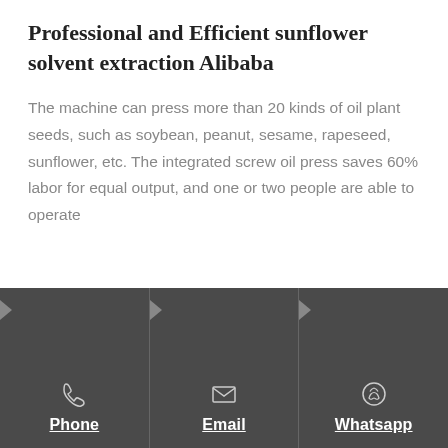Professional and Efficient sunflower solvent extraction Alibaba
The machine can press more than 20 kinds of oil plant seeds, such as soybean, peanut, sesame, rapeseed, sunflower, etc. The integrated screw oil press saves 60% labor for equal output, and one or two people are able to operate independently. The oil press is
Phone | Email | Whatsapp